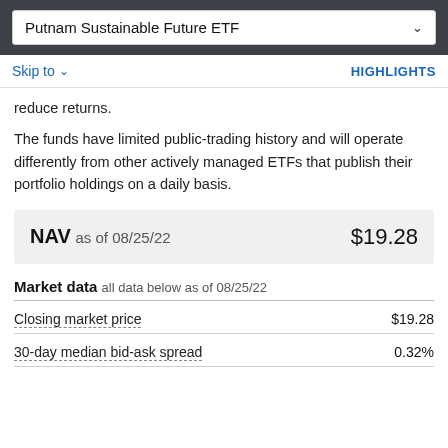Putnam Sustainable Future ETF
reduce returns.
The funds have limited public-trading history and will operate differently from other actively managed ETFs that publish their portfolio holdings on a daily basis.
NAV as of 08/25/22   $19.28
Market data all data below as of 08/25/22
|  |  |
| --- | --- |
| Closing market price | $19.28 |
| 30-day median bid-ask spread | 0.32% |